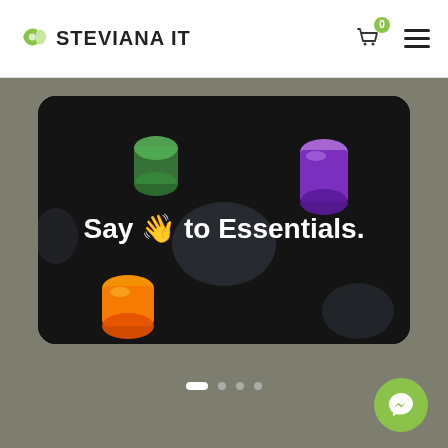STEVIANA IT
[Figure (screenshot): Hero banner on dark background showing 3D pill-shaped objects (green, purple, orange) floating on a dark surface with text 'Say 👋 to Essentials.' in white bold font. Below the banner are carousel dots and a green Messenger floating button.]